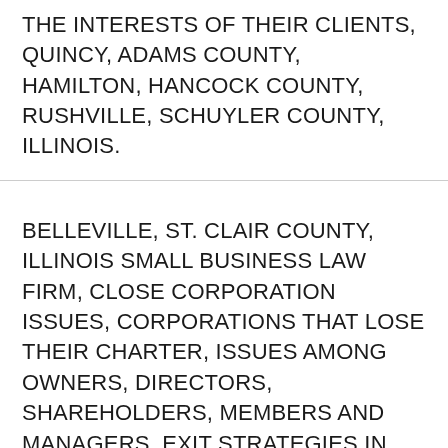THE INTERESTS OF THEIR CLIENTS, QUINCY, ADAMS COUNTY, HAMILTON, HANCOCK COUNTY, RUSHVILLE, SCHUYLER COUNTY, ILLINOIS.
BELLEVILLE, ST. CLAIR COUNTY, ILLINOIS SMALL BUSINESS LAW FIRM, CLOSE CORPORATION ISSUES, CORPORATIONS THAT LOSE THEIR CHARTER, ISSUES AMONG OWNERS, DIRECTORS, SHAREHOLDERS, MEMBERS AND MANAGERS, EXIT STRATEGIES IN REGARD TO RETIREMENT OR WITHDRAWAL, BUY-SELL AGREEMENTS, CORPORATE STOCK REDEMPTION AGREEMENTS, METRO EAST, BELLEVILLE, ST. CLAIR COUNTY, ILLINOIS BUSINESS LAW ATTORNEY AVAILABLE TO REPRESENT CLIENTS FROM PEKIN, TAZEWELL